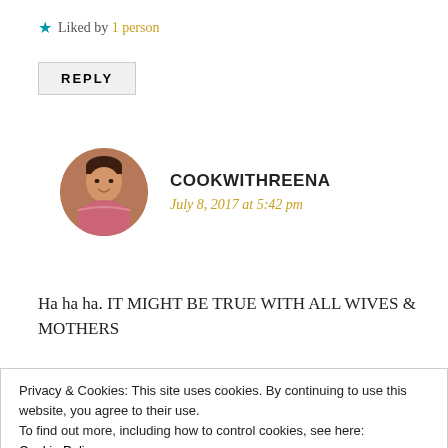★ Liked by 1 person
REPLY
[Figure (photo): Circular avatar photo of a woman in a pink/red top, smiling, with a warm brown background]
COOKWITHREENA
July 8, 2017 at 5:42 pm
Ha ha ha. IT MIGHT BE TRUE WITH ALL WIVES & MOTHERS
Privacy & Cookies: This site uses cookies. By continuing to use this website, you agree to their use.
To find out more, including how to control cookies, see here:
Cookie Policy
Close and accept